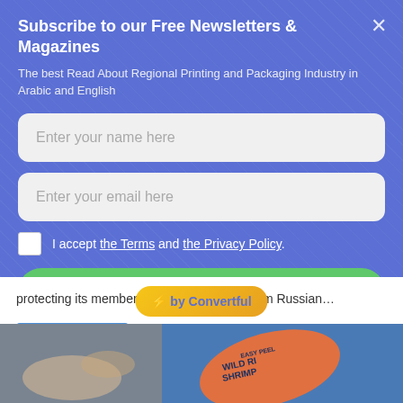Subscribe to our Free Newsletters & Magazines
The best Read About Regional Printing and Packaging Industry in Arabic and English
Enter your name here
Enter your email here
I accept the Terms and the Privacy Policy.
Subscribe Now
protecting its member sta...tion from Russian…
⚡ by Convertful
Read More »
[Figure (photo): Close-up photo of a blue and orange food packaging bag reading WILD RICH SHRIMP, EASY PEEL, with seafood items nearby]